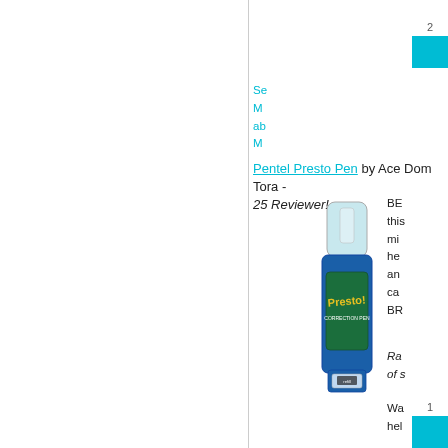[Figure (other): Teal colored button/badge element at top right, partially cropped]
Se M ab M
Pentel Presto Pen by Ace Dom Tora - 25 Reviewer!
[Figure (photo): Photo of Pentel Presto correction pen with blue body and clear cap]
BE this mi he an ca BR
Ra of s
Wa hel
[Figure (other): Teal colored button/badge element at bottom right, partially cropped]